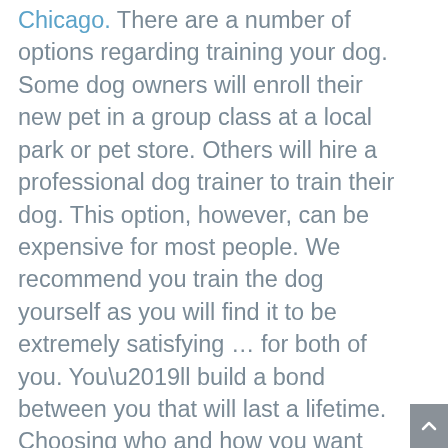Chicago. There are a number of options regarding training your dog. Some dog owners will enroll their new pet in a group class at a local park or pet store. Others will hire a professional dog trainer to train their dog. This option, however, can be expensive for most people. We recommend you train the dog yourself as you will find it to be extremely satisfying … for both of you. You’ll build a bond between you that will last a lifetime. Choosing who and how you want your dog trained is an important decision, as it can affect your relationship with your dog over his entire life.One of the most rewarding things you can do with a new rescue is train your dog at home. Both of you will feel comfortable in a home-setting environment and it’ll save you a lot of money. Also, as mentioned, it’ll be more fun for both of you. Here’s the thing, you’re going to end up training the dog yourself in the long run anyway over the lifetime you spend with your dog, so why not start out training him from the